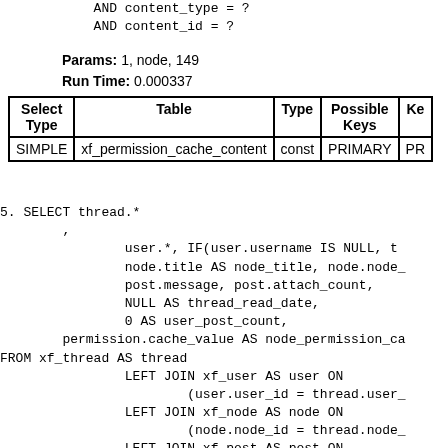AND content_type = ?
            AND content_id = ?
Params: 1, node, 149
Run Time: 0.000337
| Select Type | Table | Type | Possible Keys | Ke |
| --- | --- | --- | --- | --- |
| SIMPLE | xf_permission_cache_content | const | PRIMARY | PR |
5. SELECT thread.*
        ,
                user.*, IF(user.username IS NULL, t
                node.title AS node_title, node.node_
                post.message, post.attach_count,
                NULL AS thread_read_date,
                0 AS user_post_count,
        permission.cache_value AS node_permission_ca
FROM xf_thread AS thread
                LEFT JOIN xf_user AS user ON
                        (user.user_id = thread.user_
                LEFT JOIN xf_node AS node ON
                        (node.node_id = thread.node_
                LEFT JOIN xf_post AS post ON
                        (post.post_id = thread.firs
        LEFT JOIN xf_permission_cache_content AS pe
                ON (permission.permission_combinatio
                        AND permission.content_type
                        AND permission.content_id =